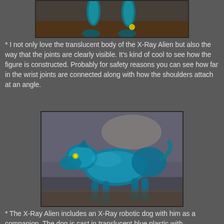[Figure (photo): Partial photo showing the legs and feet of a translucent teal/blue X-Ray Alien toy figure against a brown background]
* I not only love the translucent body of the X-Ray Alien but also the way that the joints are clearly visible. It's kind of cool to see how the figure is constructed. Probably for safety reasons you can see how far in the wrist joints are connected along with how the shoulders attach at an angle.
[Figure (photo): Photo of a translucent blue X-Ray robotic dog toy figure posed on a textured gray surface. The dog is cast in translucent blue plastic with yellow eyes visible.]
* The X-Ray Alien includes an X-Ray robotic dog with him as a companion. The dog is cast in translucent blue plastic with